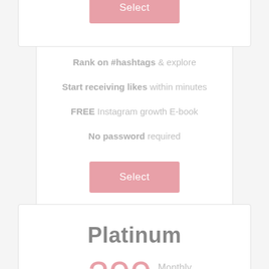30 posts per month
208 million follower network
Rank on #hashtags & explore
Start receiving likes within minutes
FREE Instagram growth E-book
No password required
Select
Platinum
$299 Monthly
500 auto likes per post